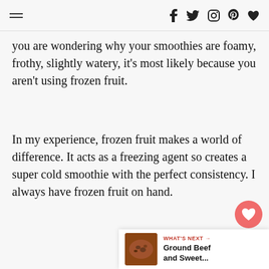navigation header with hamburger menu and social icons: f, twitter, instagram, pinterest, heart
you are wondering why your smoothies are foamy, frothy, slightly watery, it's most likely because you aren't using frozen fruit.
In my experience, frozen fruit makes a world of difference. It acts as a freezing agent so creates a super cold smoothie with the perfect consistency. I always have frozen fruit on hand.
[Figure (infographic): Floating action buttons: pink heart button with count 2, and share button]
[Figure (infographic): What's Next widget with thumbnail image of Ground Beef dish and text 'WHAT'S NEXT → Ground Beef and Sweet...']